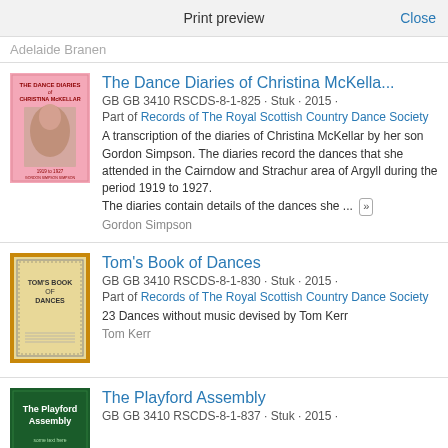Print preview   Close
Adelaide Branen
The Dance Diaries of Christina McKella...
GB GB 3410 RSCDS-8-1-825 · Stuk · 2015 ·
Part of Records of The Royal Scottish Country Dance Society
A transcription of the diaries of Christina McKellar by her son Gordon Simpson. The diaries record the dances that she attended in the Cairndow and Strachur area of Argyll during the period 1919 to 1927.
The diaries contain details of the dances she ...
Gordon Simpson
Tom's Book of Dances
GB GB 3410 RSCDS-8-1-830 · Stuk · 2015 ·
Part of Records of The Royal Scottish Country Dance Society
23 Dances without music devised by Tom Kerr
Tom Kerr
The Playford Assembly
GB GB 3410 RSCDS-8-1-837 · Stuk · 2015 ·